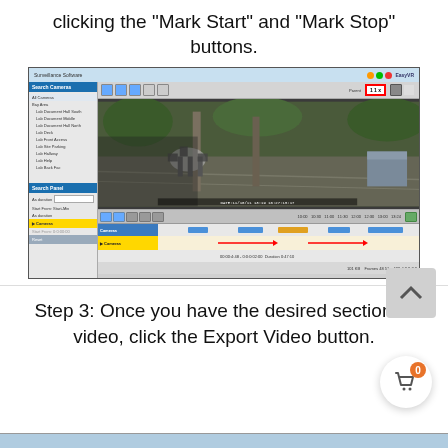clicking the “Mark Start” and “Mark Stop” buttons.
[Figure (screenshot): Screenshot of surveillance camera software showing a video feed of an outdoor patio area with tables and chairs. The software interface includes a sidebar with camera list, a main video viewing area, and a timeline panel at the bottom with colored event bars and arrows indicating mark start/stop points.]
Step 3: Once you have the desired section of video, click the Export Video button.